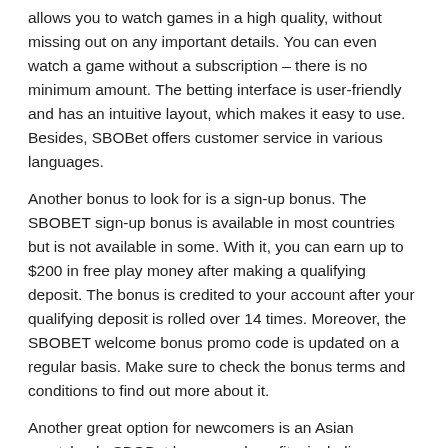allows you to watch games in a high quality, without missing out on any important details. You can even watch a game without a subscription – there is no minimum amount. The betting interface is user-friendly and has an intuitive layout, which makes it easy to use. Besides, SBOBet offers customer service in various languages.
Another bonus to look for is a sign-up bonus. The SBOBET sign-up bonus is available in most countries but is not available in some. With it, you can earn up to $200 in free play money after making a qualifying deposit. The bonus is credited to your account after your qualifying deposit is rolled over 14 times. Moreover, the SBOBET welcome bonus promo code is updated on a regular basis. Make sure to check the bonus terms and conditions to find out more about it.
Another great option for newcomers is an Asian sportsbook. SBOBet has many benefits, including an easy-to-use website, an affiliate program, and a large variety of betting markets. Customers can also read reviews about other sportsbooks and learn more about their service. If you are interested in making profits, you should try a sportsbook that offers a high ROI. In this way, you will have a higher chance of winning compared to other sportsbooks.
Aside from being an excellent choice for online betting, SBOBet also has many other benefits that make it one of the most popular in Indonesia. Its member-friendly policies allow you to participate in any game and win